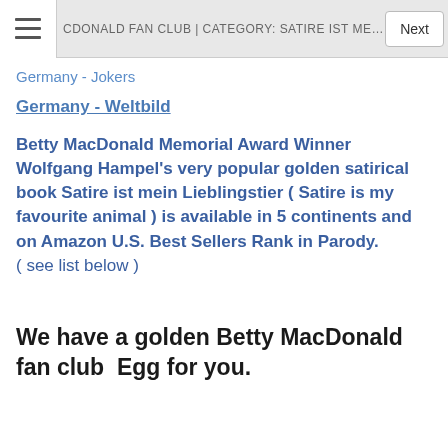≡  CDONALD FAN CLUB | CATEGORY: SATIRE IST MEIN LIEBLINGS  Next
Germany - Jokers
Germany - Weltbild
Betty MacDonald Memorial Award Winner Wolfgang Hampel's very popular golden satirical book Satire ist mein Lieblingstier ( Satire is my favourite animal ) is available in 5 continents and on Amazon U.S. Best Sellers Rank in Parody.
( see list below )
We have a golden Betty MacDonald fan club  Egg for you.